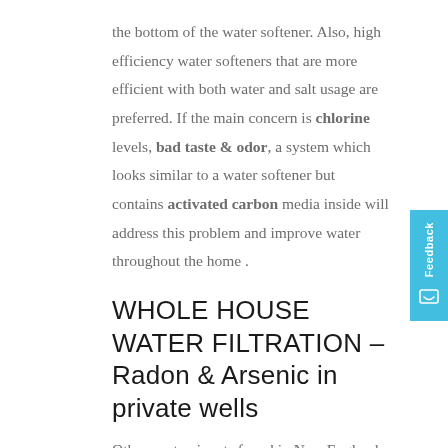the bottom of the water softener. Also, high efficiency water softeners that are more efficient with both water and salt usage are preferred. If the main concern is chlorine levels, bad taste & odor, a system which looks similar to a water softener but contains activated carbon media inside will address this problem and improve water throughout the home .
WHOLE HOUSE WATER FILTRATION – Radon & Arsenic in private wells
Other contaminants found in New England